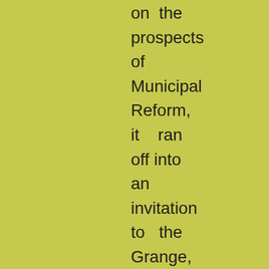on the prospects of Municipal Reform, it ran off into an invitation to the Grange, which, once written, could not be done away with at